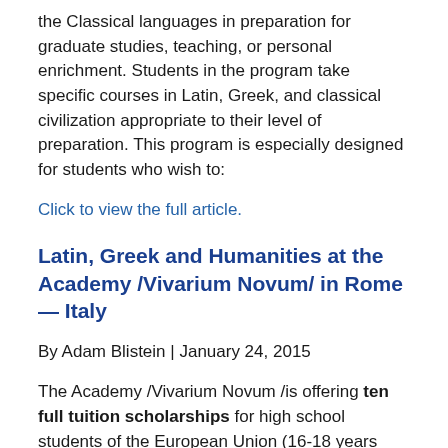the Classical languages in preparation for graduate studies, teaching, or personal enrichment. Students in the program take specific courses in Latin, Greek, and classical civilization appropriate to their level of preparation. This program is especially designed for students who wish to:
Click to view the full article.
Latin, Greek and Humanities at the Academy /Vivarium Novum/ in Rome — Italy
By Adam Blistein | January 24, 2015
The Academy /Vivarium Novum /is offering ten full tuition scholarships for high school students of the European Union (16-18 years old) and ten full tuition scholarships for University students (18-24 years old) of any part of the world. The scholarships